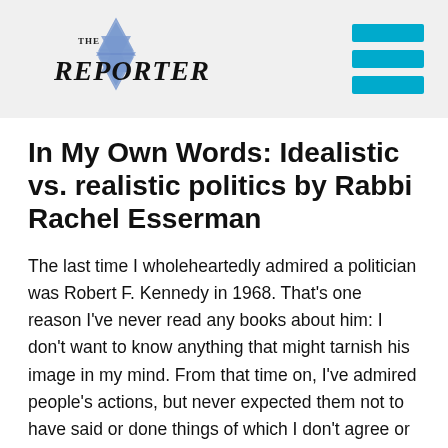THE REPORTER
In My Own Words: Idealistic vs. realistic politics by Rabbi Rachel Esserman
The last time I wholeheartedly admired a politician was Robert F. Kennedy in 1968. That’s one reason I’ve never read any books about him: I don’t want to know anything that might tarnish his image in my mind. From that time on, I’ve admired people’s actions, but never expected them not to have said or done things of which I don’t agree or approve. In fact, if there is one thing I’ve learned about politics it’s that nice guys’ agendas often aren’t implemented. Sometimes you have to get down and dirty in order for real change to occur.
I’m not saying that I like this idea. I much prefer idealistic politics